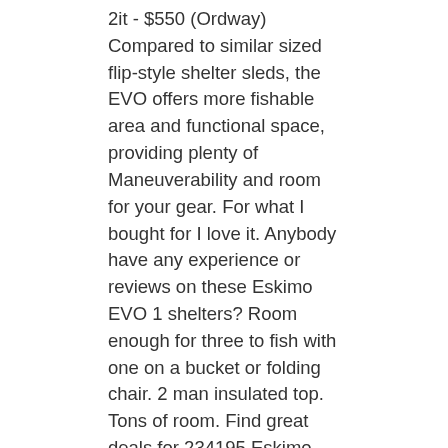2it - $550 (Ordway) Compared to similar sized flip-style shelter sleds, the EVO offers more fishable area and functional space, providing plenty of Maneuverability and room for your gear. For what I bought for I love it. Anybody have any experience or reviews on these Eskimo EVO 1 shelters? Room enough for three to fish with one on a bucket or folding chair. 2 man insulated top. Tons of room. Find great deals for 234195 Eskimo EVO 2 IT Exclusive Accessory Bundle Tow Hitch Travel Cover Runners. The Eskimo Deluxe Tow Hitch allows you to pull your sled or flip shelter with a ball hitch. The tow hitch attaches to the sides of the sled, and pivots up and down for travel over uneven terrain. The IQ fabric is colored black to help absorb and hold heat, keeping the ice angler warm in frigid conditions. Posts: 7,512. Check out their Quantum augers and EVO shelters. Eskimo Evo 2iT Crossover Insulated Ice Shelter is a best seller and high quality product. Share - 25502 Eskimo EVO 2it Sled Ice Shelter Manufacturer.